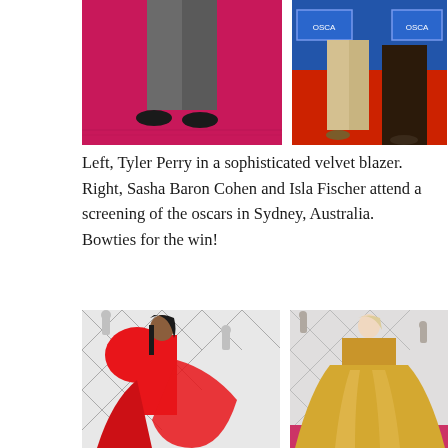[Figure (photo): Left: Lower half of a man in grey trousers and dark shoes on a pink/magenta red carpet. Right: Two people on a red carpet with OSCARS signage in background — one in cream/tan suit, one in dark long skirt.]
Left, Tyler Perry in a sophisticated velvet blazer. Right, Sasha Baron Cohen and Isla Fischer attend a screening of the oscars in Sydney, Australia. Bowties for the win!
[Figure (photo): Left: A woman in a dramatic red gown with large puffed bow/cape shoulders on the Oscars red carpet with diamond-pattern backdrop. Right: A woman in a gold strapless ballgown on the Oscars red carpet with diamond-pattern backdrop.]